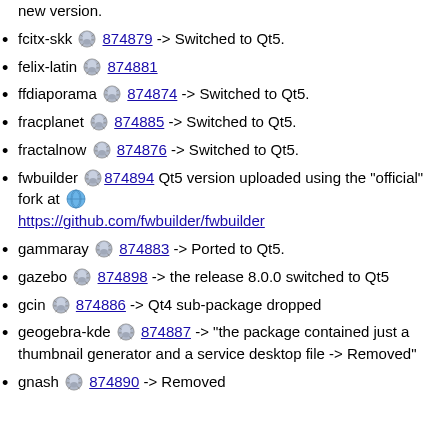new version.
fcitx-skk 874879 -> Switched to Qt5.
felix-latin 874881
ffdiaporama 874874 -> Switched to Qt5.
fracplanet 874885 -> Switched to Qt5.
fractalnow 874876 -> Switched to Qt5.
fwbuilder 874894 Qt5 version uploaded using the "official" fork at https://github.com/fwbuilder/fwbuilder
gammaray 874883 -> Ported to Qt5.
gazebo 874898 -> the release 8.0.0 switched to Qt5
gcin 874886 -> Qt4 sub-package dropped
geogebra-kde 874887 -> "the package contained just a thumbnail generator and a service desktop file -> Removed"
gnash 874890 -> Removed